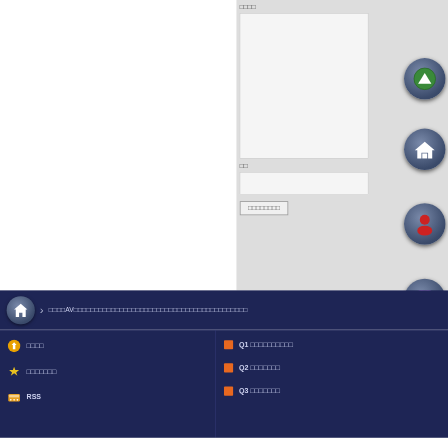[Figure (screenshot): Web application interface showing a form panel with Japanese text labels, input fields, circular navigation buttons (up arrow with green icon, home button, user/profile button, shop button, favorites button), a dark navy navigation bar with breadcrumb text in Japanese including 'AV', and a bottom menu section with icons for home, favorites, RSS feed, and Q1/Q2/Q3 category links.]
□□□□
□□
□□□□□□□□
□□□□AV□□□□□□□□□□□□□□□□□□□□□□□□□□□□□□□□□□□□□□□□□
□□□□
□□□□□□□
RSS
Q1 □□□□□□□□□□
Q2 □□□□□□□
Q3 □□□□□□□